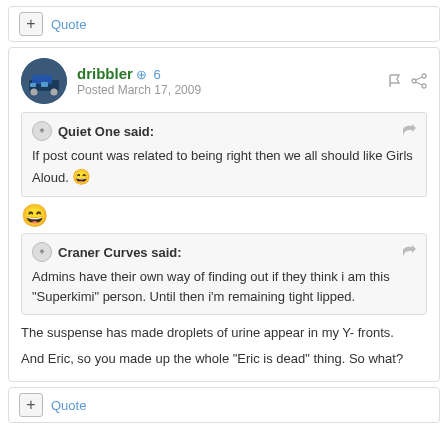+ Quote
dribbler  +6
Posted March 17, 2009
Quiet One said:
If post count was related to being right then we all should like Girls Aloud. 😄
😄
Craner Curves said:
Admins have their own way of finding out if they think i am this "Superkimi" person. Until then i'm remaining tight lipped.
The suspense has made droplets of urine appear in my Y- fronts.
And Eric, so you made up the whole "Eric is dead" thing. So what?
+ Quote